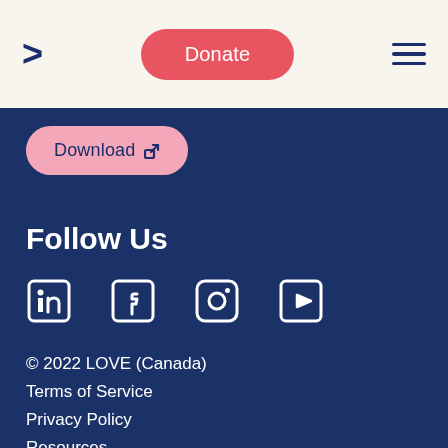< Donate ☰
Download ↗
Follow Us
[Figure (illustration): Social media icons: LinkedIn, Facebook, Instagram, YouTube]
© 2022 LOVE (Canada)
Terms of Service
Privacy Policy
Resources